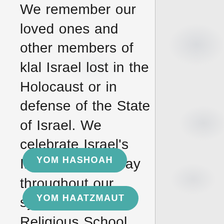We remember our loved ones and other members of klal Israel lost in the Holocaust or in defense of the State of Israel. We celebrate Israel's Independence Day throughout our synagogue and Religious School with festival programming and an Israel Fair.
YOM HASHOAH
YOM HAATZMAUT